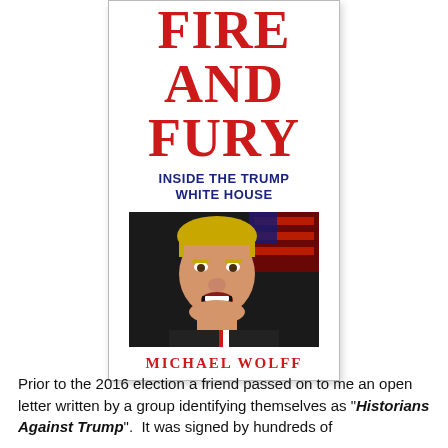[Figure (illustration): Book cover of 'Fire and Fury: Inside the Trump White House' by Michael Wolff. Red bold serif title text at top reading FIRE AND FURY, dark blue subtitle INSIDE THE TRUMP WHITE HOUSE, a photo of Donald Trump with mouth open, and red author name MICHAEL WOLFF at bottom.]
Prior to the 2016 election a friend passed on to me an open letter written by a group identifying themselves as "Historians Against Trump".  It was signed by hundreds of